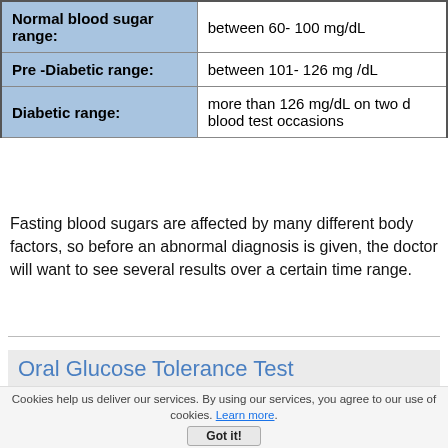|  |  |
| --- | --- |
| Normal blood sugar range: | between 60- 100 mg/dL |
| Pre -Diabetic range: | between 101- 126 mg /dL |
| Diabetic range: | more than 126 mg/dL on two different blood test occasions |
Fasting blood sugars are affected by many different body factors, so before an abnormal diagnosis is given, the doctor will want to see several results over a certain time range.
Oral Glucose Tolerance Test
An oral glucose tolerance test is used to test the body's ability to metabolize a specific amount of glucose, clear it from the blood stream and return blood sugar levels to normal.
Cookies help us deliver our services. By using our services, you agree to our use of cookies. Learn more.